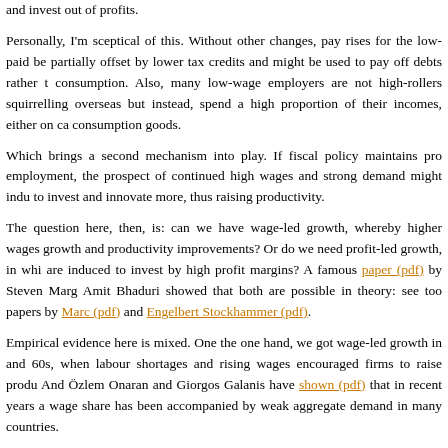and invest out of profits.
Personally, I'm sceptical of this. Without other changes, pay rises for the low-paid be partially offset by lower tax credits and might be used to pay off debts rather than consumption. Also, many low-wage employers are not high-rollers squirrelling overseas but instead, spend a high proportion of their incomes, either on capital consumption goods.
Which brings a second mechanism into play. If fiscal policy maintains prop employment, the prospect of continued high wages and strong demand might induce to invest and innovate more, thus raising productivity.
The question here, then, is: can we have wage-led growth, whereby higher wages growth and productivity improvements? Or do we need profit-led growth, in which are induced to invest by high profit margins? A famous paper (pdf) by Steven Marg Amit Bhaduri showed that both are possible in theory: see too papers by Marc (pdf) and Engelbert Stockhammer (pdf).
Empirical evidence here is mixed. One the one hand, we got wage-led growth in and 60s, when labour shortages and rising wages encouraged firms to raise produ And Özlem Onaran and Giorgos Galanis have shown (pdf) that in recent years a wage share has been accompanied by weak aggregate demand in many countries.
On the other hand, though, a study of investment in the 70s and 80s by Robert Boy Sam Bowles found that the chances of wage increases fuelling faster investm "extraordinarily small"*. The profit squeeze of the 70s led to weak capital spend